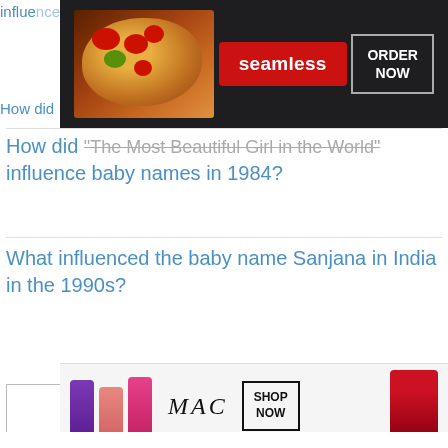[Figure (screenshot): Seamless food delivery advertisement banner with pizza image, Seamless red brand badge, and ORDER NOW button]
How did 'The Most Beautiful Girl in the World' influence baby names in 1984?
What influenced the baby name Sanjana in India in the 1990s?
[Figure (screenshot): Search input box with Search button]
We use cookies on our website to give you the most relevant experience by remembering your preferences and repeat visits. By clicking “Accept”, you consent to the use of ALL the cookies.
Do not sell my personal information.
[Figure (screenshot): MAC cosmetics advertisement with lipstick products, MAC italic logo, SHOP NOW button]